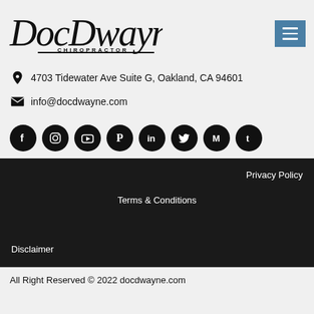[Figure (logo): DocDwayne Chiropractor logo in cursive/script style with hamburger menu button on the right]
4703 Tidewater Ave Suite G, Oakland, CA 94601
info@docdwayne.com
[Figure (illustration): Row of 8 social media icon circles: Facebook, Instagram, YouTube, Pinterest, LinkedIn, Twitter, Medium, Tumblr]
Privacy Policy
Terms & Conditions
Disclaimer
All Right Reserved © 2022 docdwayne.com